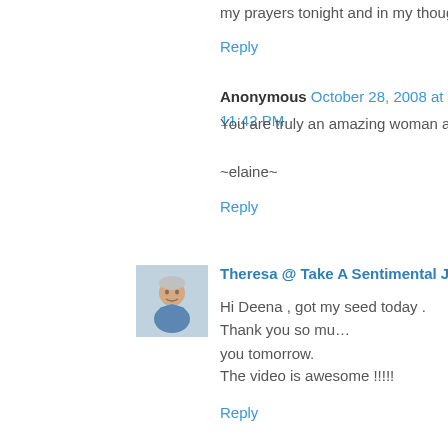my prayers tonight and in my thoughts tomorrow…
Reply
Anonymous October 28, 2008 at 11:42 PM
You are truly an amazing woman and such an ins…
~elaine~
Reply
[Figure (photo): Avatar photo of Theresa, an older person in a blue shirt]
Theresa @ Take A Sentimental Journey  Octob…
Hi Deena , got my seed today . Thank you so mu… you tomorrow.
The video is awesome !!!!!
Reply